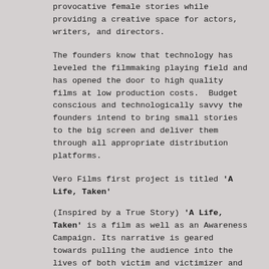provocative female stories while providing a creative space for actors, writers, and directors.
The founders know that technology has leveled the filmmaking playing field and has opened the door to high quality films at low production costs.  Budget conscious and technologically savvy the founders intend to bring small stories to the big screen and deliver them through all appropriate distribution platforms.
Vero Films first project is titled 'A Life, Taken'
(Inspired by a True Story) 'A Life, Taken' is a film as well as an Awareness Campaign. Its narrative is geared towards pulling the audience into the lives of both victim and victimizer and by doing so helping others to begin a conversation. It is our hope that this conversation helps others to begin their own healing process.
- George & DawnMarie